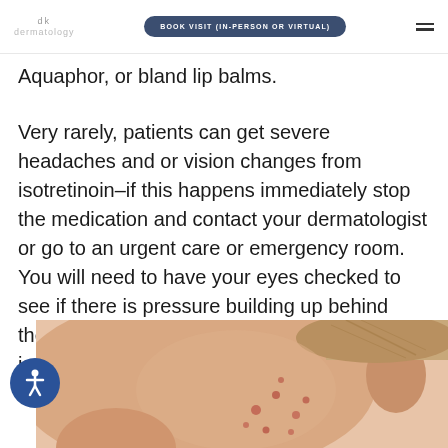dk dermatology | BOOK VISIT (IN-PERSON OR VIRTUAL)
Aquaphor, or bland lip balms.
Very rarely, patients can get severe headaches and or vision changes from isotretinoin–if this happens immediately stop the medication and contact your dermatologist or go to an urgent care or emergency room. You will need to have your eyes checked to see if there is pressure building up behind them, which can very rarely be caused by isotretinoin.
[Figure (photo): Close-up photo of a person's face showing acne/pimples on the cheek and jaw area near the ear]